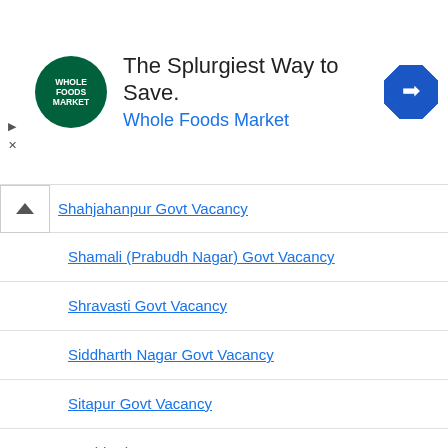[Figure (other): Advertisement banner for Whole Foods Market - The Splurgiest Way to Save.]
Shahjahanpur Govt Vacancy (partially visible)
Shamali (Prabudh Nagar) Govt Vacancy
Shravasti Govt Vacancy
Siddharth Nagar Govt Vacancy
Sitapur Govt Vacancy
Sonbhadra Govt Vacancy
Sultanpur Govt Vacancy
Unnao Govt Vacancy